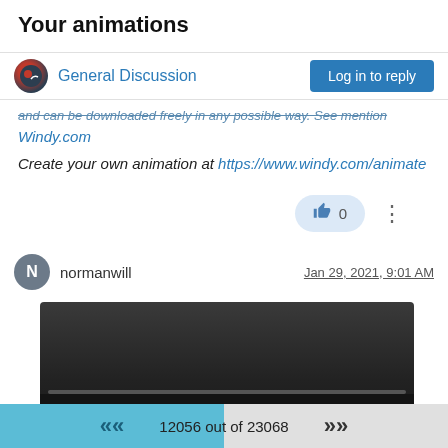Your animations
General Discussion | Log in to reply
and can be downloaded freely in any possible way. See mention Windy.com
Create your own animation at https://www.windy.com/animate
👍 0
normanwill  Jan 29, 2021, 9:01 AM
[Figure (screenshot): Embedded video player showing 0:00 with play, mute, fullscreen, and options controls on a dark background with a progress bar]
12056 out of 23068